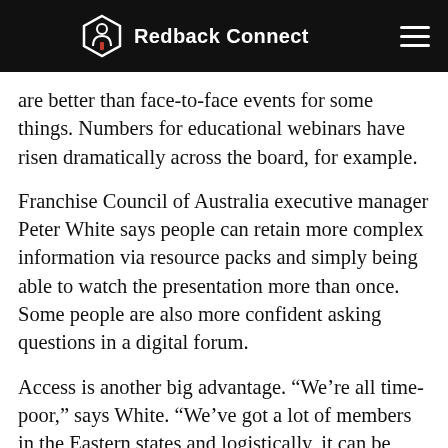Redback Connect
are better than face-to-face events for some things. Numbers for educational webinars have risen dramatically across the board, for example.
Franchise Council of Australia executive manager Peter White says people can retain more complex information via resource packs and simply being able to watch the presentation more than once. Some people are also more confident asking questions in a digital forum.
Access is another big advantage. “We’re all time-poor,” says White. “We’ve got a lot of members in the Eastern states and logistically, it can be very challenging for members in Tasmania or Western Australia to take time out of their business to attend a face-to-face event. It’s much easier for them to attend online.”
We all had a certain way of doing things prior to the